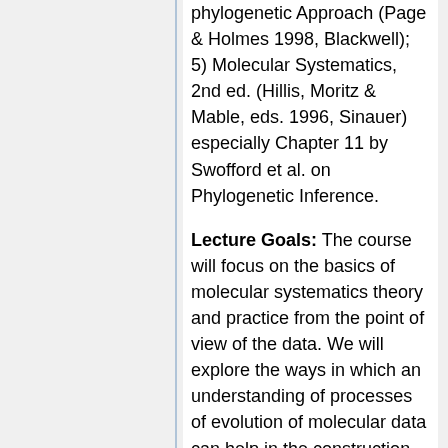phylogenetic Approach (Page & Holmes 1998, Blackwell); 5) Molecular Systematics, 2nd ed. (Hillis, Moritz & Mable, eds. 1996, Sinauer) especially Chapter 11 by Swofford et al. on Phylogenetic Inference.
Lecture Goals: The course will focus on the basics of molecular systematics theory and practice from the point of view of the data. We will explore the ways in which an understanding of processes of evolution of molecular data can help in the construction of evolutionary trees. Lectures will examine some of the most serious problems in evolutionary tree construction: nucleotide bias, alignment, homoplasy, among-site rate variation, taxon sampling, long branches, big trees, heterogeneous rates of evolution among branches,